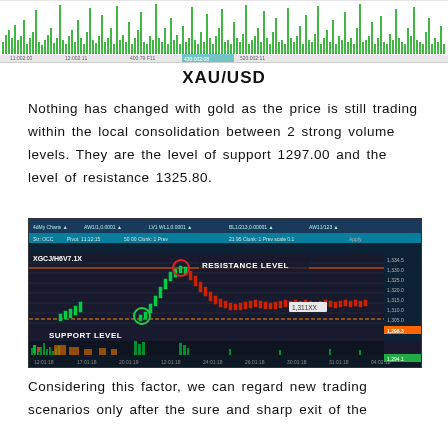[Figure (screenshot): Top portion of a trading platform chart showing green volume bars / candlestick histogram with date labels along the x-axis and price values at the bottom]
XAU/USD
Nothing has changed with gold as the price is still trading within the local consolidation between 2 strong volume levels. They are the level of support 1297.00 and the level of resistance 1325.80.
[Figure (screenshot): Trading platform screenshot showing XAU/USD (gold) candlestick chart with a resistance level annotated at top and a support level annotated at bottom, with circles highlighting key price levels.]
Considering this factor, we can regard new trading scenarios only after the sure and sharp exit of the